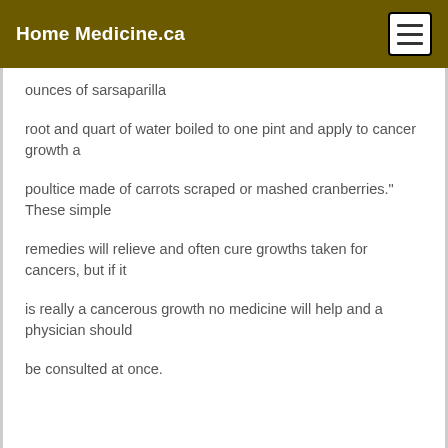Home Medicine.ca
ounces of sarsaparilla
root and quart of water boiled to one pint and apply to cancer growth a
poultice made of carrots scraped or mashed cranberries." These simple
remedies will relieve and often cure growths taken for cancers, but if it
is really a cancerous growth no medicine will help and a physician should
be consulted at once.